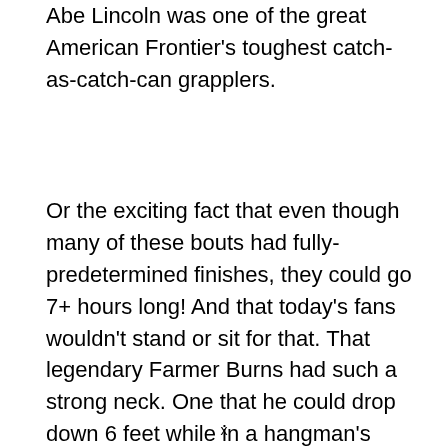Abe Lincoln was one of the great American Frontier's toughest catch-as-catch-can grapplers.
Or the exciting fact that even though many of these bouts had fully-predetermined finishes, they could go 7+ hours long! And that today's fans wouldn't stand or sit for that. That legendary Farmer Burns had such a strong neck. One that he could drop down 6 feet while in a hangman's noose with no damage! Plus, Lou
x